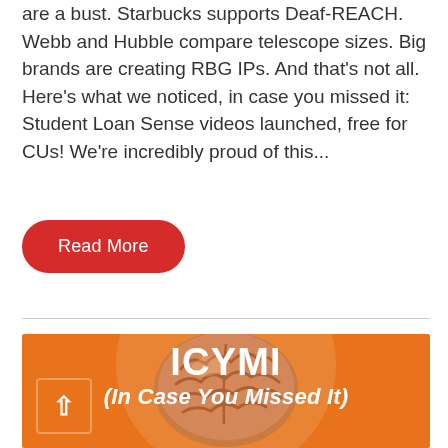are a bust. Starbucks supports Deaf-REACH. Webb and Hubble compare telescope sizes. Big brands are creating RBG IPs. And that's not all. Here's what we noticed, in case you missed it: Student Loan Sense videos launched, free for CUs! We're incredibly proud of this...
[Figure (illustration): Red pill-shaped 'Read More' button on white background]
[Figure (infographic): Orange background with a 3D brain illustration and white text reading 'ICYMI' and '(In Case You Missed It)']